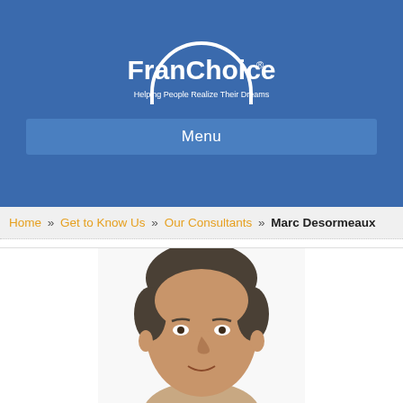[Figure (logo): FranChoice logo — white arch with 'FranChoice' text and tagline 'Helping People Realize Their Dreams' on a blue background]
Menu
Home » Get to Know Us » Our Consultants » Marc Desormeaux
[Figure (photo): Headshot photo of Marc Desormeaux, a middle-aged man with short dark grey hair, smiling, on a white background]